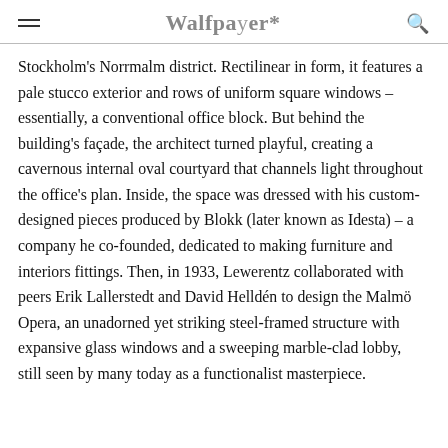Wallpaper*
Stockholm's Norrmalm district. Rectilinear in form, it features a pale stucco exterior and rows of uniform square windows – essentially, a conventional office block. But behind the building's façade, the architect turned playful, creating a cavernous internal oval courtyard that channels light throughout the office's plan. Inside, the space was dressed with his custom-designed pieces produced by Blokk (later known as Idesta) – a company he co-founded, dedicated to making furniture and interiors fittings. Then, in 1933, Lewerentz collaborated with peers Erik Lallerstedt and David Helldén to design the Malmö Opera, an unadorned yet striking steel-framed structure with expansive glass windows and a sweeping marble-clad lobby, still seen by many today as a functionalist masterpiece.